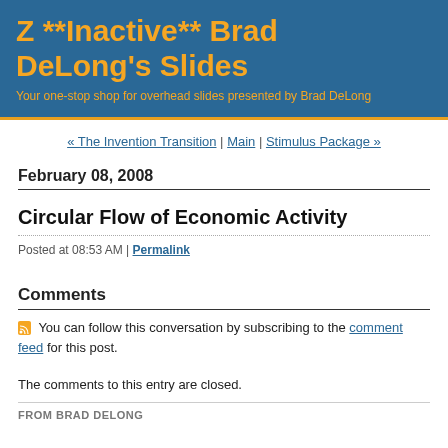Z **Inactive** Brad DeLong's Slides
Your one-stop shop for overhead slides presented by Brad DeLong
« The Invention Transition | Main | Stimulus Package »
February 08, 2008
Circular Flow of Economic Activity
Posted at 08:53 AM | Permalink
Comments
You can follow this conversation by subscribing to the comment feed for this post.
The comments to this entry are closed.
FROM BRAD DELONG